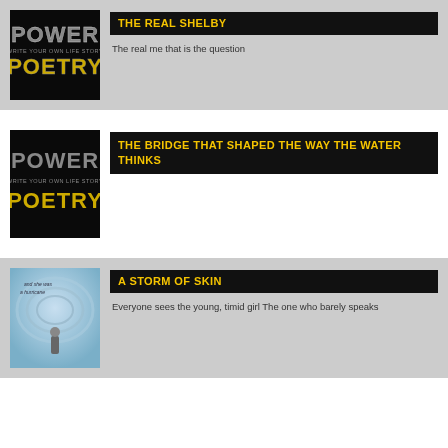[Figure (logo): Power Poetry logo - black background with stylized text POWER and POETRY in grey/yellow on black]
THE REAL SHELBY
The real me that is the question
[Figure (logo): Power Poetry logo - black background with stylized text POWER and POETRY in grey/yellow on black]
THE BRIDGE THAT SHAPED THE WAY THE WATER THINKS
[Figure (illustration): Illustration of a figure in a swirling storm/hurricane scene with text 'and she was a hurricane']
A STORM OF SKIN
Everyone sees the young, timid girl The one who barely speaks